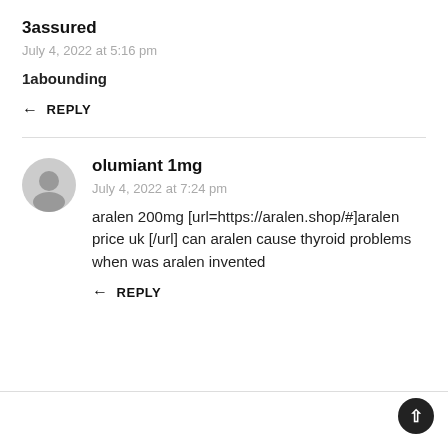3assured
July 4, 2022 at 5:16 pm
1abounding
REPLY
olumiant 1mg
July 4, 2022 at 7:24 pm
aralen 200mg [url=https://aralen.shop/#]aralen price uk [/url] can aralen cause thyroid problems when was aralen invented
REPLY